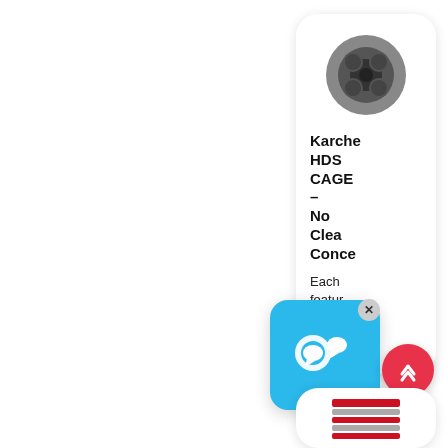[Figure (photo): Product card showing a circular metal cleaning nozzle/tip (black rubber and metal rings) for Karcher HDS machine]
Karche HDS CAGE – No Clean Conce
Each featur Kärche
[Figure (photo): Second product card showing red and silver metal cleaning product (fan nozzles or similar)]